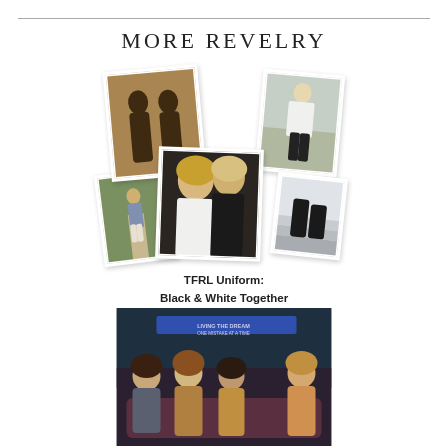MORE REVELRY
[Figure (photo): Collage of five polaroid-style fashion photos showing women in black and white outfits]
TFRL Uniform:
Black & White Together
[Figure (photo): Group photo of four young women sitting/posing together on a couch with text 'LIVING THE DREAM ONE MISTAKE AT A TIME' visible in the background]